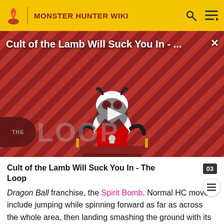MONSTER HUNTER WIKI
[Figure (screenshot): Video thumbnail for 'Cult of the Lamb Will Suck You In - The Loop' showing an animated lamb character on a red diagonal-striped background with THE LOOP branding and a play button overlay]
Cult of the Lamb Will Suck You In - The Loop
Dragon Ball franchise, the Spirit Bomb. Normal HC moves include jumping while spinning forward as far as across the whole area, then landing smashing the ground with its